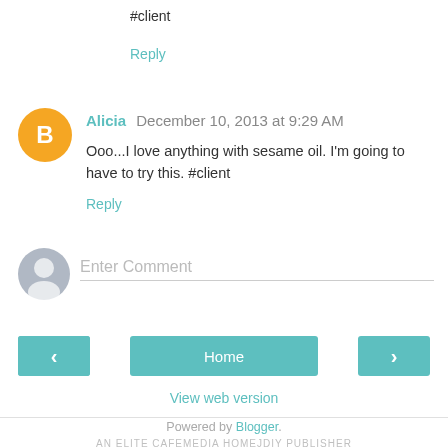#client
Reply
Alicia December 10, 2013 at 9:29 AM
Ooo...I love anything with sesame oil. I'm going to have to try this. #client
Reply
Enter Comment
Home
View web version
Powered by Blogger.
AN ELITE CAFEMEDIA HOMEJDIY PUBLISHER